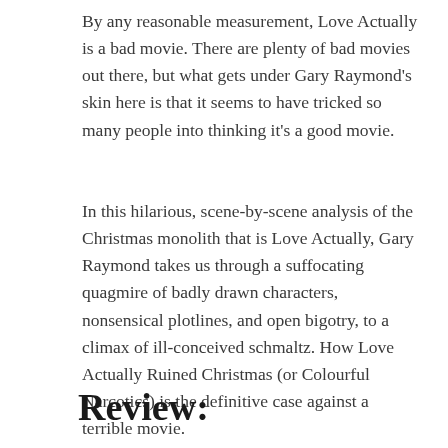By any reasonable measurement, Love Actually is a bad movie. There are plenty of bad movies out there, but what gets under Gary Raymond's skin here is that it seems to have tricked so many people into thinking it's a good movie.
In this hilarious, scene-by-scene analysis of the Christmas monolith that is Love Actually, Gary Raymond takes us through a suffocating quagmire of badly drawn characters, nonsensical plotlines, and open bigotry, to a climax of ill-conceived schmaltz. How Love Actually Ruined Christmas (or Colourful Narcotics) is the definitive case against a terrible movie.
Review: